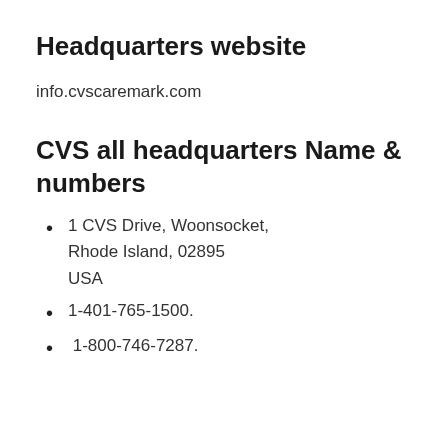Headquarters website
info.cvscaremark.com
CVS all headquarters Name & numbers
1 CVS Drive, Woonsocket, Rhode Island, 02895 USA
1-401-765-1500.
1-800-746-7287.